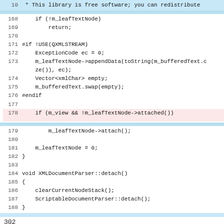10   * This library is free software; you can redistribute
168     if (!m_leafTextNode)
169         return;
170
171 #if !USE(QXMLSTREAM)
172     ExceptionCode ec = 0;
173     m_leafTextNode->appendData(toString(m_bufferedText.c
    ze()), ec);
174     Vector<xmlChar> empty;
175     m_bufferedText.swap(empty);
176 #endif
177
178     if (m_view && !m_leafTextNode->attached())
179             m_leafTextNode->attach();
180
181     m_leafTextNode = 0;
182 }
183
184 void XMLDocumentParser::detach()
185 {
186     clearCurrentNodeStack();
187     ScriptableDocumentParser::detach();
188 }
302
Chromium Code Reviews has been turned down in favor of Chromium Gerrit. This page was archived in December 2020.